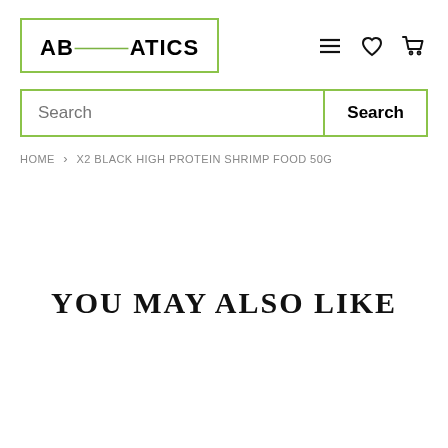ABQUATICS
Search
HOME › X2 BLACK HIGH PROTEIN SHRIMP FOOD 50G
YOU MAY ALSO LIKE